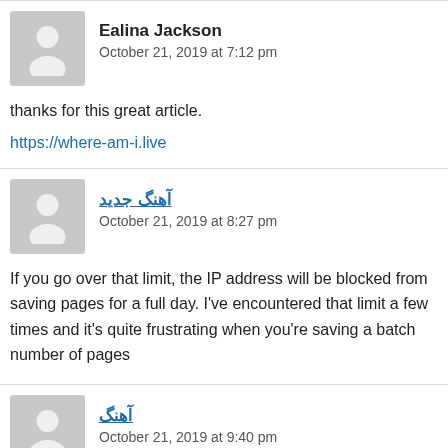Ealina Jackson
October 21, 2019 at 7:12 pm
thanks for this great article.
https://where-am-i.live
آهنگ جدید
October 21, 2019 at 8:27 pm
If you go over that limit, the IP address will be blocked from saving pages for a full day. I've encountered that limit a few times and it's quite frustrating when you're saving a batch number of pages
آهنگ
October 21, 2019 at 9:40 pm